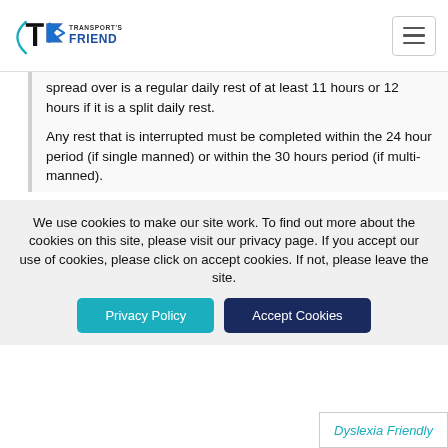Transport's Friend
spread over is a regular daily rest of at least 11 hours or 12 hours if it is a split daily rest.

Any rest that is interrupted must be completed within the 24 hour period (if single manned) or within the 30 hours period (if multi-manned).
We use cookies to make our site work. To find out more about the cookies on this site, please visit our privacy page. If you accept our use of cookies, please click on accept cookies. If not, please leave the site.
Privacy Policy | Accept Cookies
Dyslexia Friendly